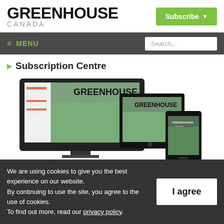GREENHOUSE CANADA
Subscribe
Subscription Centre
[Figure (screenshot): Greenhouse Canada magazine shown on desktop monitor, tablet, and smartphone devices]
We are using cookies to give you the best experience on our website. By continuing to use the site, you agree to the use of cookies. To find out more, read our privacy policy.